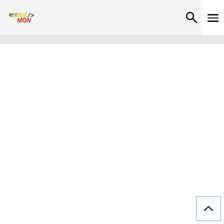THE <CODE/> MON — navigation header with logo, search icon, and hamburger menu
[Figure (screenshot): Mostly blank white page body below the navigation header of 'The Code Mon' website. A back-to-top button with a caret/chevron up arrow is visible in the bottom-right corner.]